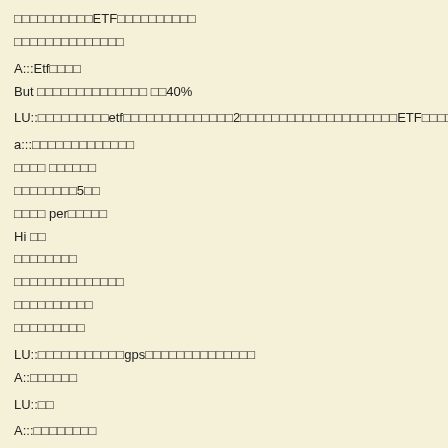□□□□□□□□□□ETF□□□□□□□□□□
□□□□□□□□□□□□□□
A:::Etf□□□□
But □□□□□□□□□□□□□□ □□40%
LU::□□□□□□□□□etf□□□□□□□□□□□□□□2□□□□□□□□□□□□□□□□□□□□ETF□□□□□□
a:::□□□□□□□□□□□□□
□□□□ □□□□□□
□□□□□□□□5□□
□□□□ per□□□□□
Hi □□
□□□□□□□□
□□□□□□□□□□□□□□
□□□□□□□□□□
□□□□□□□□□
LU::□□□□□□□□□□□gps□□□□□□□□□□□□□□
A::□□□□□□
LU::□□
A:::□□□□□□□□
□□□□□□□
□□□□□□□□□
LU::□□□□□□□□□□□□□□